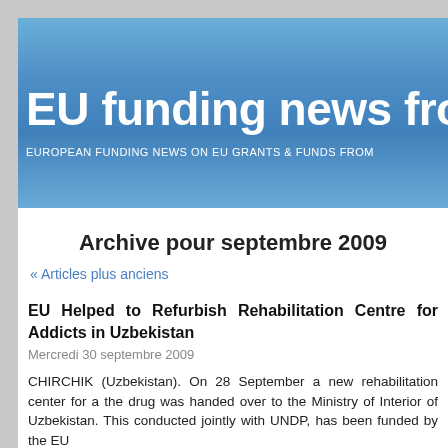EU funding news from
EUROPEAN FUNDING NEWS ON EU GRANTS & FUNDS FROM
Archive pour septembre 2009
« Articles plus anciens
EU Helped to Refurbish Rehabilitation Centre for Addicts in Uzbekistan
Mercredi 30 septembre 2009
CHIRCHIK (Uzbekistan). On 28 September a new rehabilitation center for a the drug was handed over to the Ministry of Interior of Uzbekistan. This conducted jointly with UNDP, has been funded by the EU